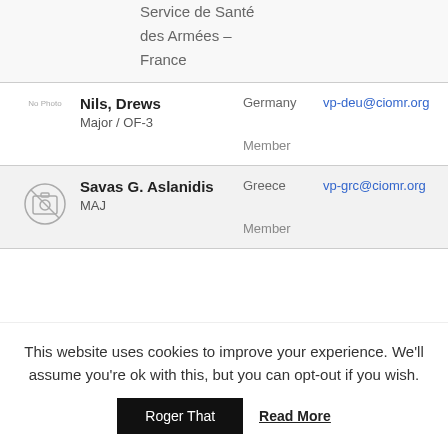Service de Santé des Armées – France
| Photo | Name/Rank | Country | Email |
| --- | --- | --- | --- |
| No Photo | Nils, Drews
Major / OF-3 | Germany

Member | vp-deu@ciomr.org |
| [camera icon] | Savas G. Aslanidis
MAJ | Greece

Member | vp-grc@ciomr.org |
This website uses cookies to improve your experience. We'll assume you're ok with this, but you can opt-out if you wish.
Roger That
Read More